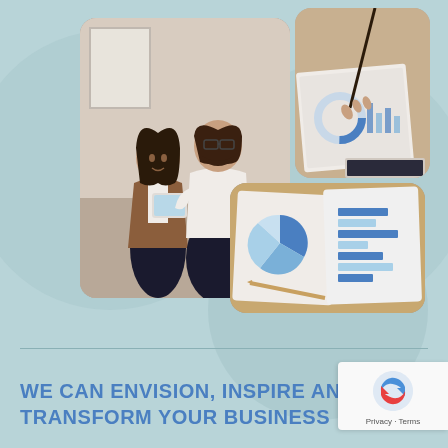[Figure (photo): Collage of three business photos: left shows a man and woman looking at a tablet together in an office; top right shows a hand pointing at a printed chart/report on a desk with a laptop visible; bottom right shows printed business charts (pie chart and bar chart) on a desk.]
WE CAN ENVISION, INSPIRE AND TRANSFORM YOUR BUSINESS